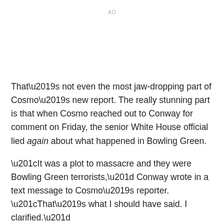AD
That’s not even the most jaw-dropping part of Cosmo’s new report. The really stunning part is that when Cosmo reached out to Conway for comment on Friday, the senior White House official lied again about what happened in Bowling Green.
“It was a plot to massacre and they were Bowling Green terrorists,” Conway wrote in a text message to Cosmo’s reporter. “That’s what I should have said. I clarified.”